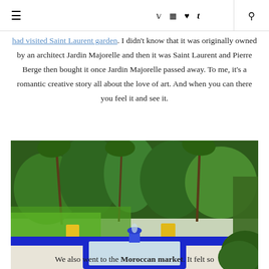≡  ♥ ✎ ♥ t  🔍
...had visited Saint Laurent garden. I didn't know that it was originally owned by an architect Jardin Majorelle and then it was Saint Laurent and Pierre Berge then bought it once Jardin Majorelle passed away. To me, it's a romantic creative story all about the love of art. And when you can there you feel it and see it.
[Figure (photo): Jardin Majorelle garden with a bright cobalt blue fountain basin in the foreground, surrounded by lush tropical plants and palm trees in the background, and yellow flower pots along the blue-painted wall.]
We also went to the Moroccan market. It felt so